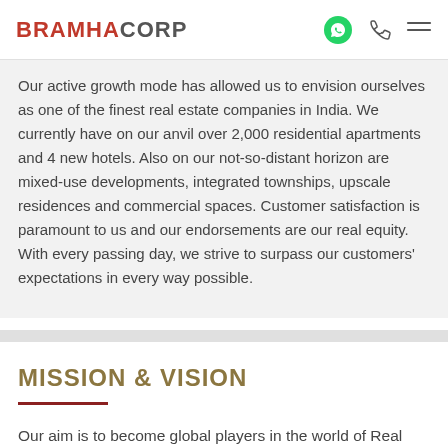BRAMHACORP
Our active growth mode has allowed us to envision ourselves as one of the finest real estate companies in India. We currently have on our anvil over 2,000 residential apartments and 4 new hotels. Also on our not-so-distant horizon are mixed-use developments, integrated townships, upscale residences and commercial spaces. Customer satisfaction is paramount to us and our endorsements are our real equity. With every passing day, we strive to surpass our customers' expectations in every way possible.
MISSION & VISION
Our aim is to become global players in the world of Real Estate, Hospitality and Entertainment using product